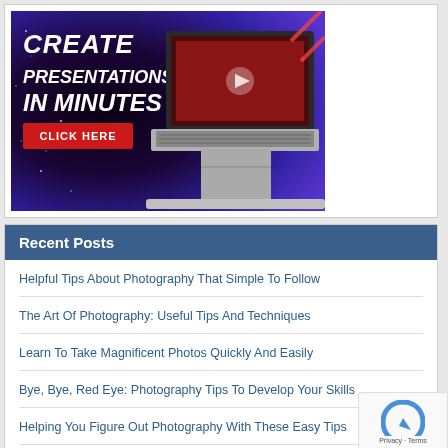[Figure (illustration): Advertisement banner showing 'CREATE PRESENTATIONS IN MINUTES' with a laptop image and a red 'CLICK HERE' button, set against a dark purple/black starry background]
Recent Posts
Helpful Tips About Photography That Simple To Follow
The Art Of Photography: Useful Tips And Techniques
Learn To Take Magnificent Photos Quickly And Easily
Bye, Bye, Red Eye: Photography Tips To Develop Your Skills
Helping You Figure Out Photography With These Easy Tips
Helpful Ideas To Try That Produce Great Photographs!
Quick And Easy Tips To Get The Most From Your Photography